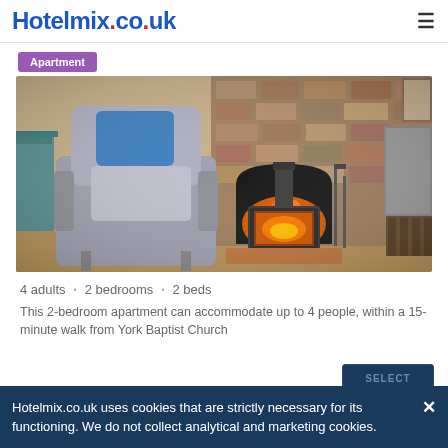Hotelmix.co.uk
Apartment
[Figure (photo): Interior photo of a cozy apartment living room with a grey armchair with blue cushion, and a lit wood-burning stove set in a stone brick fireplace]
4 adults • 2 bedrooms • 2 beds
This 2-bedroom apartment can accommodate up to 4 people, within a 15-minute walk from York Baptist Church
Hotelmix.co.uk uses cookies that are strictly necessary for its functioning. We do not collect analytical and marketing cookies.